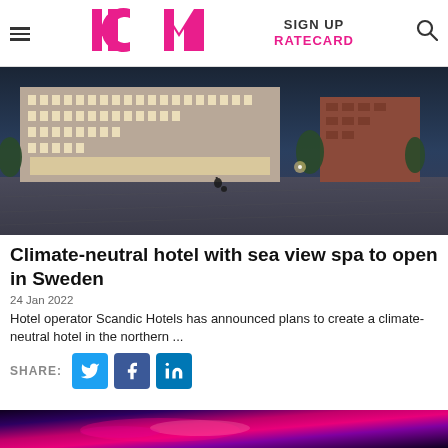HCM | SIGN UP | RATECARD
[Figure (photo): Architectural rendering of a modern hotel building at dusk, with illuminated windows, trees along a wide plaza, and a cyclist in the foreground.]
Climate-neutral hotel with sea view spa to open in Sweden
24 Jan 2022
Hotel operator Scandic Hotels has announced plans to create a climate-neutral hotel in the northern ...
SHARE:
[Figure (photo): Bottom preview strip showing a colorful neon/light display image in pink and purple tones.]